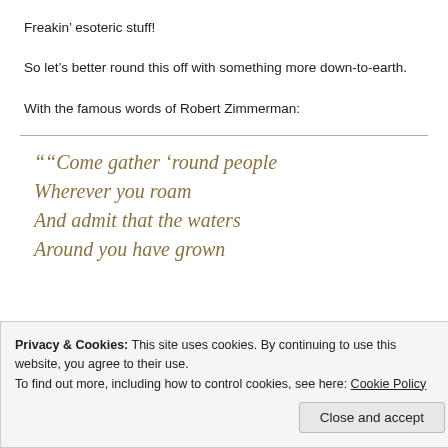Freakin’ esoteric stuff!
So let’s better round this off with something more down-to-earth.
With the famous words of Robert Zimmerman:
““Come gather ’round people Wherever you roam And admit that the waters Around you have grown
Privacy & Cookies: This site uses cookies. By continuing to use this website, you agree to their use. To find out more, including how to control cookies, see here: Cookie Policy